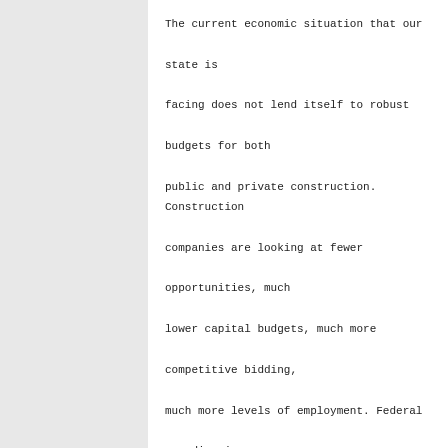The current economic situation that our state is facing does not lend itself to robust budgets for both public and private construction. Construction companies are looking at fewer opportunities, much lower capital budgets, much more competitive bidding, much more levels of employment. Federal spending in Interior Alaska is a bright spot that should be taken advantage of by all Alaskan companies and their workforces. If we as employers and our